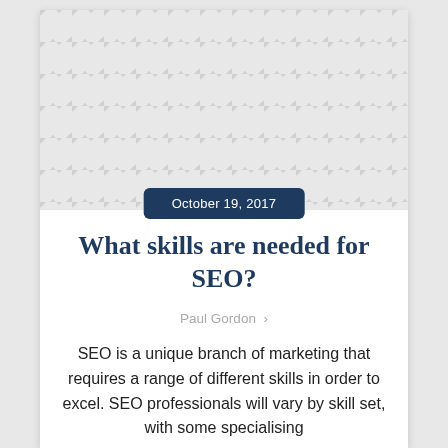[Figure (illustration): Diagonal stripe pattern background in grey and white, used as a decorative hero image at the top of the article card.]
October 19, 2017
What skills are needed for SEO?
Paul Gordon
SEO is a unique branch of marketing that requires a range of different skills in order to excel. SEO professionals will vary by skill set, with some specialising